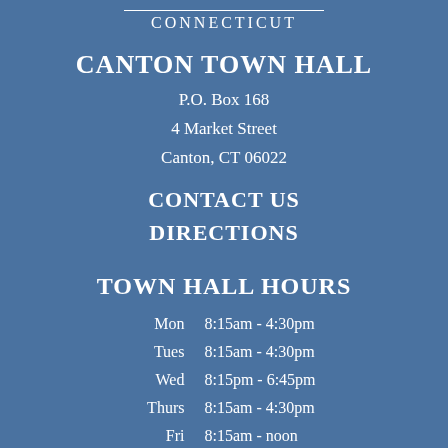CONNECTICUT
CANTON TOWN HALL
P.O. Box 168
4 Market Street
Canton, CT 06022
CONTACT US
DIRECTIONS
TOWN HALL HOURS
| Day | Hours |
| --- | --- |
| Mon | 8:15am - 4:30pm |
| Tues | 8:15am - 4:30pm |
| Wed | 8:15pm - 6:45pm |
| Thurs | 8:15am - 4:30pm |
| Fri | 8:15am - noon |